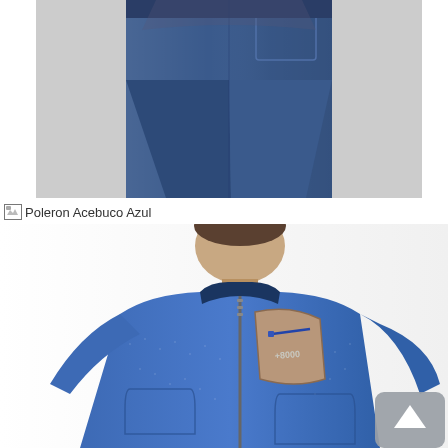[Figure (photo): Photo of a person wearing dark blue jeans, cropped to show lower torso and legs from behind/side, on a light gray background.]
Poleron Acebuco Azul
[Figure (photo): Photo of a man wearing a blue heathered knit fleece zip-up jacket with a tan/beige chest pocket panel and brand logo, on a white background. A scroll-to-top button is overlaid at the bottom right.]